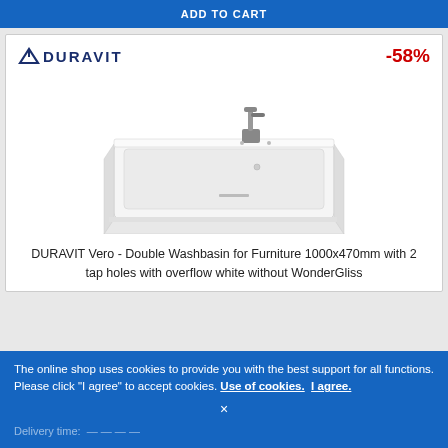ADD TO CART
[Figure (photo): Duravit brand logo with -58% discount badge in a product card]
[Figure (photo): DURAVIT Vero white ceramic double washbasin for furniture, 1000x470mm, photographed at an angle showing the faucet and overflow]
DURAVIT Vero - Double Washbasin for Furniture 1000x470mm with 2 tap holes with overflow white without WonderGliss
The online shop uses cookies to provide you with the best support for all functions. Please click "I agree" to accept cookies. Use of cookies. I agree.
Delivery time: